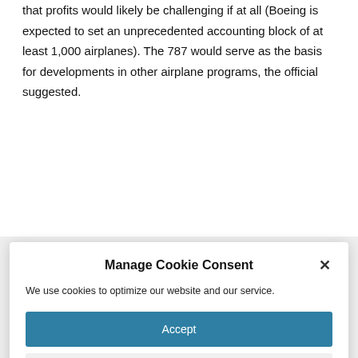...Actually the entire 787 program as one massive hulk given that profits would likely be challenging if at all (Boeing is expected to set an unprecedented accounting block of at least 1,000 airplanes). The 787 would serve as the basis for developments in other airplane programs, the official suggested.
Manage Cookie Consent
We use cookies to optimize our website and our service.
Accept
Deny
Preferences
Cookie Policy  Privacy Policy